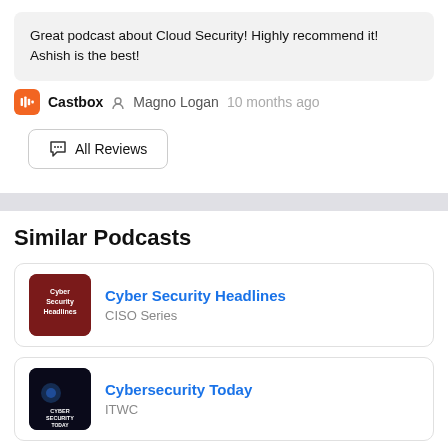Great podcast about Cloud Security! Highly recommend it! Ashish is the best!
Castbox  Magno Logan  10 months ago
All Reviews
Similar Podcasts
Cyber Security Headlines
CISO Series
Cybersecurity Today
ITWC